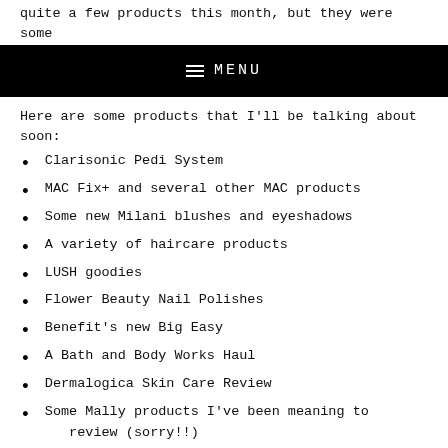quite a few products this month, but they were some
MENU
Here are some products that I'll be talking about soon:
Clarisonic Pedi System
MAC Fix+ and several other MAC products
Some new Milani blushes and eyeshadows
A variety of haircare products
LUSH goodies
Flower Beauty Nail Polishes
Benefit's new Big Easy
A Bath and Body Works Haul
Dermalogica Skin Care Review
Some Mally products I've been meaning to review (sorry!!)
Badican Skincare